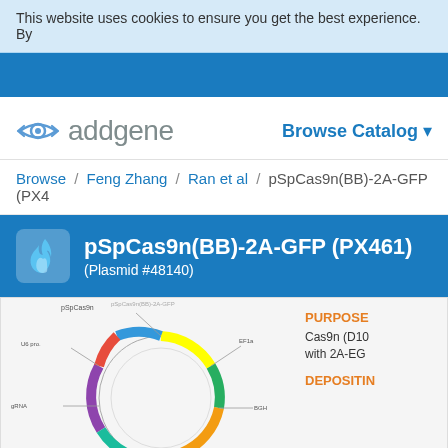This website uses cookies to ensure you get the best experience. By
[Figure (logo): Addgene logo with stylized eye icon and 'addgene' text in gray]
Browse Catalog ▾
Browse / Feng Zhang / Ran et al / pSpCas9n(BB)-2A-GFP (PX4...
pSpCas9n(BB)-2A-GFP (PX461)
(Plasmid #48140)
[Figure (other): Circular plasmid map diagram for pSpCas9n(BB)-2A-GFP (PX461) with labeled genetic elements]
PURPOSE
Cas9n (D10... with 2A-EG...
DEPOSITIN...